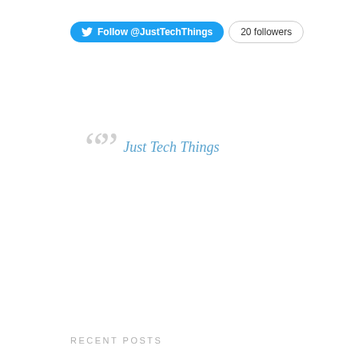[Figure (other): Twitter Follow button with bird icon showing 'Follow @JustTechThings' and '20 followers' badge]
Just Tech Things
RECENT POSTS